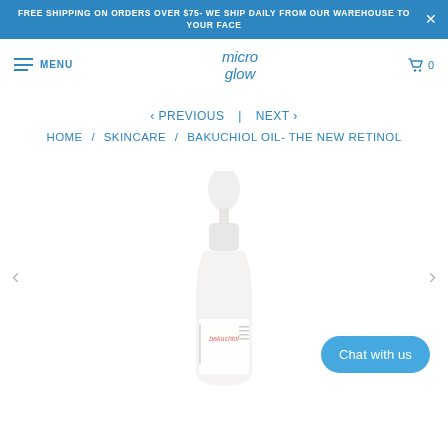FREE SHIPPING ON ORDERS OVER $75- WE SHIP DAILY FROM OUR WAREHOUSE TO YOUR FACE
[Figure (logo): Micro Glow brand logo and navigation bar with hamburger menu, MENU text, cart icon showing 0]
< PREVIOUS | NEXT >
HOME / SKINCARE / BAKUCHIOL OIL- THE NEW RETINOL
[Figure (photo): White dropper bottle with bakuchiol label, white background, with left and right carousel arrows and a Chat with us button]